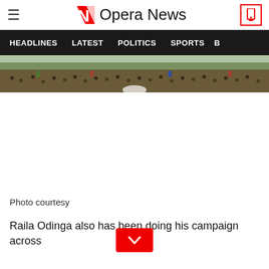Opera News
HEADLINES   LATEST   POLITICS   SPORTS   B
[Figure (photo): Wide panoramic crowd photo showing a large gathering of people outdoors]
Photo courtesy
Raila Odinga also has been doing his campaign across